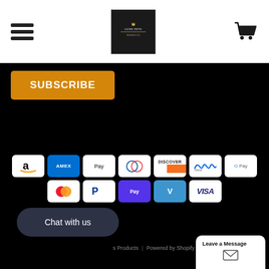[Figure (logo): Luxe Pets Products logo - dark square with crown and text]
[Figure (illustration): Hamburger menu icon (three horizontal lines)]
[Figure (illustration): Shopping cart icon]
SUBSCRIBE
[Figure (illustration): Payment method icons: Amazon, Amex, Apple Pay, Diners Club, Discover, Meta Pay, Google Pay, Mastercard, PayPal, Shop Pay, Venmo, Visa]
Chat with us
s Products | Powered by Shopify
Leave a Message